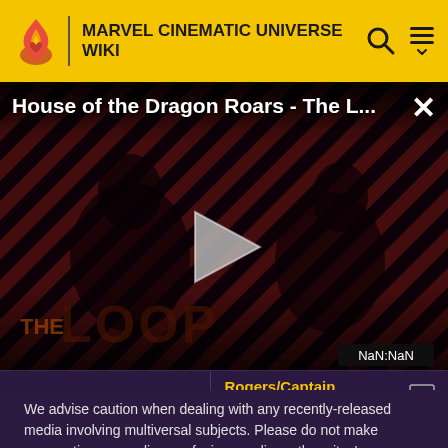MARVEL CINEMATIC UNIVERSE WIKI
[Figure (screenshot): Video thumbnail for 'House of the Dragon Roars - The L...' showing darkened figures with 'THE LOOP' text overlay, diagonal red and black stripes background, play button in center, NaN:NaN timer bottom right, and close X button top right]
Rogers/Captain America
We advise caution when dealing with any recently-released media involving multiversal subjects. Please do not make assumptions regarding confusing wording, other sites' speculation, and people's headcanon around the internet.